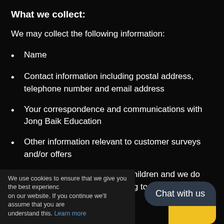What we collect:
We may collect the following information:
Name
Contact information including postal address, telephone number and email address
Your correspondence and communications with Jong Baik Education
Other information relevant to customer surveys and/or offers
Our website is not intended for children and we do not knowingly collect data relating to children
We use cookies to ensure that we give you the best experience on our website. If you continue we'll assume that you are understand this. Learn more